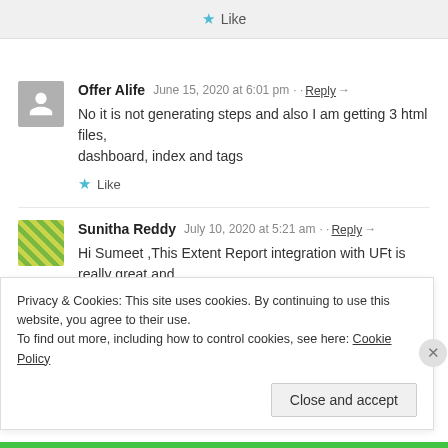Like
Offer Alife  June 15, 2020 at 6:01 pm · Reply →
No it is not generating steps and also I am getting 3 html files, dashboard, index and tags
Like
Sunitha Reddy  July 10, 2020 at 5:21 am · Reply →
Hi Sumeet ,This Extent Report integration with UFt is really great and
Privacy & Cookies: This site uses cookies. By continuing to use this website, you agree to their use.
To find out more, including how to control cookies, see here: Cookie Policy
Close and accept